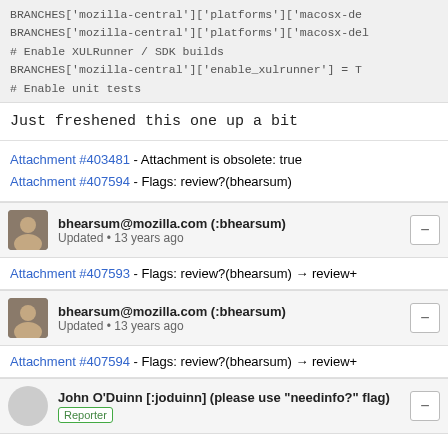[Figure (screenshot): Code block showing Python/config code with BRANCHES['mozilla-central']['platforms']['macosx-del...], # Enable XULRunner / SDK builds, BRANCHES['mozilla-central']['enable_xulrunner'] = T, # Enable unit tests, BRANCHES['mozilla-central']['enable_unittests'] = ... lines in monospace font on gray background]
Just freshened this one up a bit
Attachment #403481 - Attachment is obsolete: true
Attachment #407594 - Flags: review?(bhearsum)
bhearsum@mozilla.com (:bhearsum)
Updated • 13 years ago
Attachment #407593 - Flags: review?(bhearsum) → review+
bhearsum@mozilla.com (:bhearsum)
Updated • 13 years ago
Attachment #407594 - Flags: review?(bhearsum) → review+
John O'Duinn [:joduinn] (please use "needinfo?" flag)
Reporter